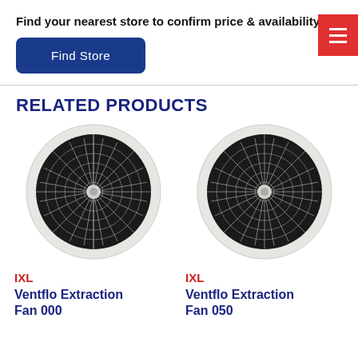Find your nearest store to confirm price & availability.
[Figure (screenshot): Blue 'Find Store' button with rounded corners]
[Figure (screenshot): Red hamburger menu button in top right corner]
RELATED PRODUCTS
[Figure (photo): IXL Ventflo ceiling extraction fan with circular grille, viewed from below, white surround with dark grille]
[Figure (photo): IXL Ventflo ceiling extraction fan with circular grille, viewed from below, white surround with dark grille]
IXL
IXL
Ventflo Extraction Fan 000
Ventflo Extraction Fan 050